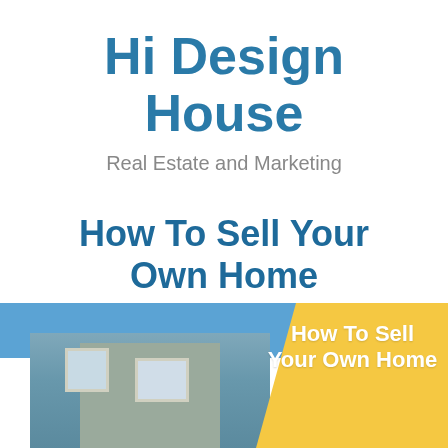Hi Design House
Real Estate and Marketing
How To Sell Your Own Home
By Armando Dixon
[Figure (photo): Book cover image showing a two-story residential house with blue siding under a blue sky, with a yellow diagonal overlay panel on the right side containing the text 'How To Sell Your Own Home']